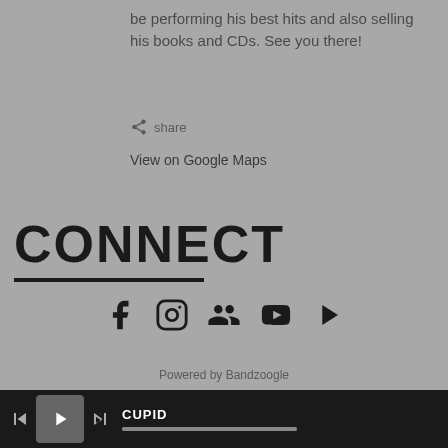be performing his best hits and also selling his books and CDs. See you there!
share
View on Google Maps
CONNECT
[Figure (infographic): Social media icons: Facebook, Instagram, group/people icon, YouTube, and an arrow/play icon]
Powered by Bandzoogle
CUPID